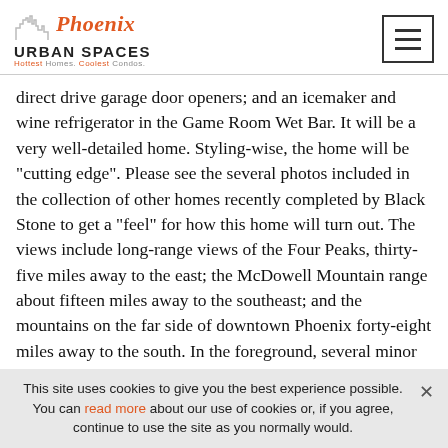Phoenix Urban Spaces — Hottest Homes. Coolest Condos.
direct drive garage door openers; and an icemaker and wine refrigerator in the Game Room Wet Bar. It will be a very well-detailed home. Styling-wise, the home will be "cutting edge". Please see the several photos included in the collection of other homes recently completed by Black Stone to get a "feel" for how this home will turn out. The views include long-range views of the Four Peaks, thirty-five miles away to the east; the McDowell Mountain range about fifteen miles away to the southeast; and the mountains on the far side of downtown Phoenix forty-eight miles away to the south. In the foreground, several minor mountains or mountain ranges provide perspective to the view, and the soft nighttime glow of residential lighting in Desert Mountain, mostly to the east, provides a very appealing nighttime visual experience (along with all those
This site uses cookies to give you the best experience possible. You can read more about our use of cookies or, if you agree, continue to use the site as you normally would.